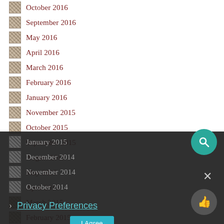October 2016
September 2016
May 2016
April 2016
March 2016
February 2016
January 2016
November 2015
October 2015
September 2015
August 2015
May 2015
April 2015
March 2015
February 2015
January 2015
December 2014
November 2014
October 2014
Privacy Preferences
I Agree